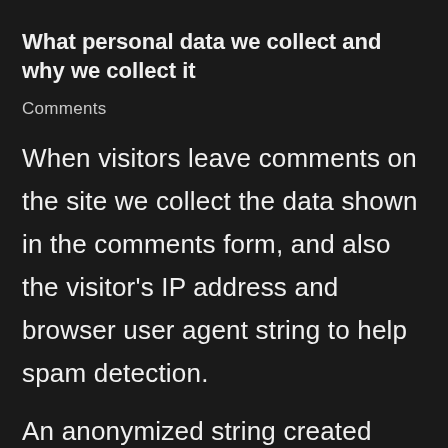What personal data we collect and why we collect it
Comments
When visitors leave comments on the site we collect the data shown in the comments form, and also the visitor's IP address and browser user agent string to help spam detection.
An anonymized string created from